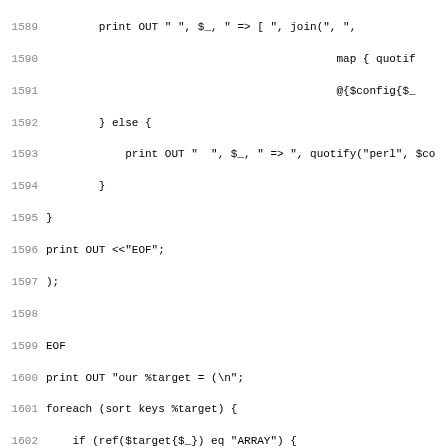Source code listing lines 1589-1621, Perl code with print OUT statements, foreach loops, and EOF heredoc markers